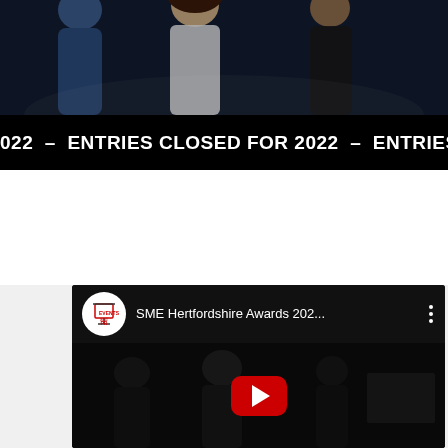[Figure (photo): Photo strip showing people at an event, dark blue/night atmosphere]
022  –  ENTRIES CLOSED FOR 2022  –  ENTRIES CLOSED
[Figure (screenshot): YouTube video embed showing 'SME Hertfordshire Awards 202...' with play button, channel icon with easel/presentation board logo, dark thumbnail showing event attendees]